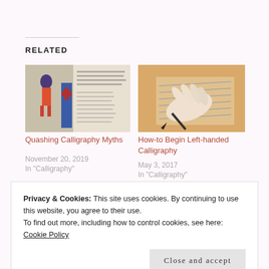RELATED
[Figure (illustration): Thumbnail of a medieval manuscript illumination with calligraphy text]
Quashing Calligraphy Myths
November 20, 2019
In "Calligraphy"
[Figure (illustration): Thumbnail of a left-handed person writing calligraphy with a pen on lined paper]
How-to Begin Left-handed Calligraphy
May 3, 2017
In "Calligraphy"
[Figure (photo): Partial thumbnail of a third related article]
Privacy & Cookies: This site uses cookies. By continuing to use this website, you agree to their use.
To find out more, including how to control cookies, see here:
Cookie Policy
Close and accept
June 5, 2017
In "Calligraphy"